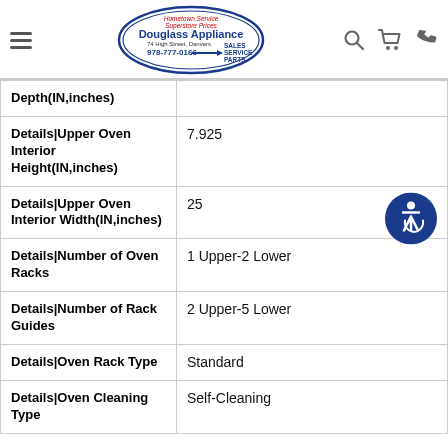Douglass Appliance – 74 High Street, Danvers – 978-777-0166 – Sales Service Parts
| Attribute | Value |
| --- | --- |
| Depth(IN,inches) |  |
| Details|Upper Oven Interior Height(IN,inches) | 7.925 |
| Details|Upper Oven Interior Width(IN,inches) | 25 |
| Details|Number of Oven Racks | 1 Upper-2 Lower |
| Details|Number of Rack Guides | 2 Upper-5 Lower |
| Details|Oven Rack Type | Standard |
| Details|Oven Cleaning Type | Self-Cleaning |